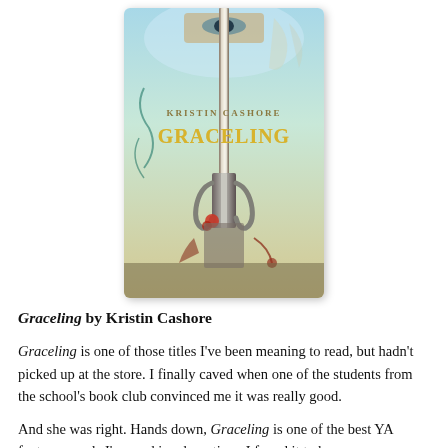[Figure (photo): Book cover of 'Graceling' by Kristin Cashore, featuring a sword, trident hilt, and decorative floral elements on a teal/golden background with eyes visible at the top.]
Graceling by Kristin Cashore
Graceling is one of those titles I've been meaning to read, but hadn't picked up at the store. I finally caved when one of the students from the school's book club convinced me it was really good.
And she was right. Hands down, Graceling is one of the best YA fantasy novels I've read in a long time. I found it to be